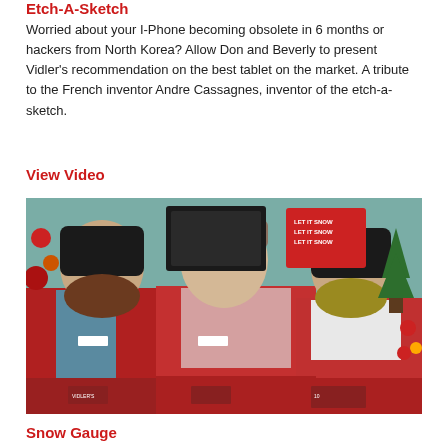Etch-A-Sketch
Worried about your I-Phone becoming obsolete in 6 months or hackers from North Korea? Allow Don and Beverly to present Vidler's recommendation on the best tablet on the market. A tribute to the French inventor Andre Cassagnes, inventor of the etch-a-sketch.
View Video
[Figure (photo): Three people wearing red aprons and black beanies with fake beards (brown on left, yellow-green on right) standing in front of a Christmas decoration display with 'Let it Snow' signs in the background.]
Snow Gauge